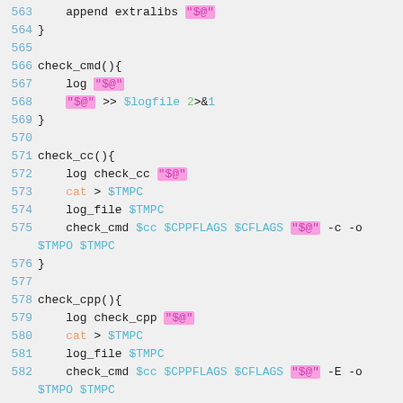563     append extralibs "$@"
564 }
565
566 check_cmd(){
567     log "$@"
568     "$@" >> $logfile 2>&1
569 }
570
571 check_cc(){
572     log check_cc "$@"
573     cat > $TMPC
574     log_file $TMPC
575     check_cmd $cc $CPPFLAGS $CFLAGS "$@" -c -o $TMPO $TMPC
576 }
577
578 check_cpp(){
579     log check_cpp "$@"
580     cat > $TMPC
581     log_file $TMPC
582     check_cmd $cc $CPPFLAGS $CFLAGS "$@" -E -o $TMPO $TMPC
583 }
584
585 check_(){